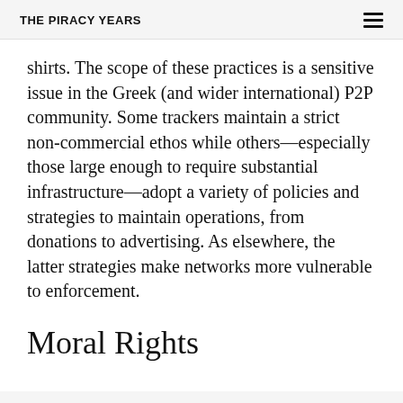THE PIRACY YEARS
shirts. The scope of these practices is a sensitive issue in the Greek (and wider international) P2P community. Some trackers maintain a strict non-commercial ethos while others—especially those large enough to require substantial infrastructure—adopt a variety of policies and strategies to maintain operations, from donations to advertising. As elsewhere, the latter strategies make networks more vulnerable to enforcement.
Moral Rights